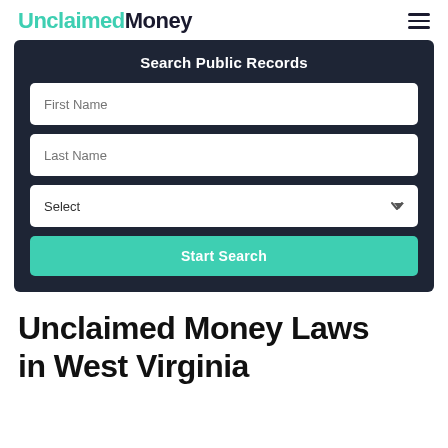UnclaimedMoney
Search Public Records
First Name
Last Name
Select
Start Search
Unclaimed Money Laws in West Virginia